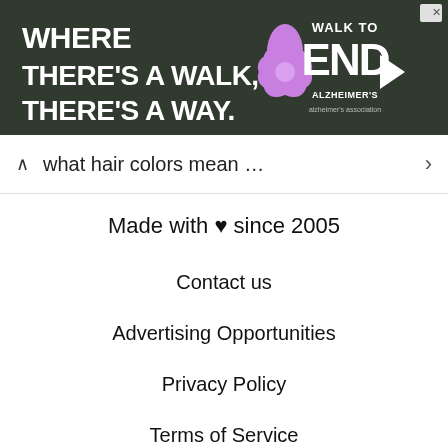[Figure (screenshot): Advertisement banner for Walk to End Alzheimer's. Dark background with white bold text reading 'WHERE THERE'S A WALK, THERE'S A WAY.' with a purple flower graphic and 'WALK TO END ALZHEIMER'S' logo on the right.]
what hair colors mean …
Made with ♥ since 2005
Contact us
Advertising Opportunities
Privacy Policy
Terms of Service